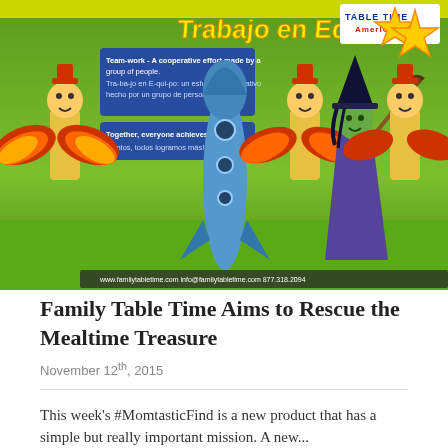[Figure (illustration): Colorful illustrated poster for 'Table Time America' showing a teamwork / Trabajo en Equipo theme with cartoon characters: scarecrows with feathered wings, a rocket, a witch in purple robes, and a large yellow star. Text on poster reads: 'Trabajo en Equipo', definitions in English and Spanish, 'Together, everyone achieves more! / ¡Juntos, todos logramos más!', and website/contact info at the bottom.]
Family Table Time Aims to Rescue the Mealtime Treasure
November 12th, 2015
This week's #MomtasticFind is a new product that has a simple but really important mission. A new...